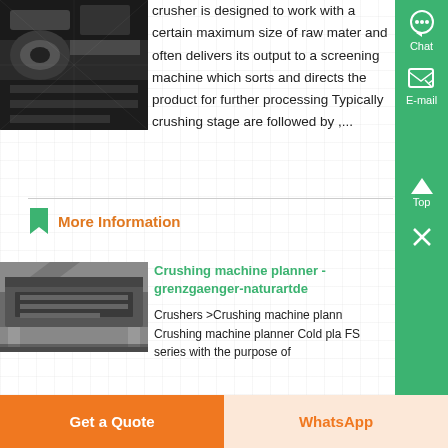[Figure (photo): Dark industrial machinery photo (partial, top-left)]
crusher is designed to work with a certain maximum size of raw mater and often delivers its output to a screening machine which sorts and directs the product for further processing Typically crushing stage are followed by ,...
More Information
[Figure (photo): Industrial crushing machine / vibrating screen equipment photo]
Crushing machine planner - grenzgaenger-naturartde
Crushers >Crushing machine plann Crushing machine planner Cold pla FS series with the purpose of